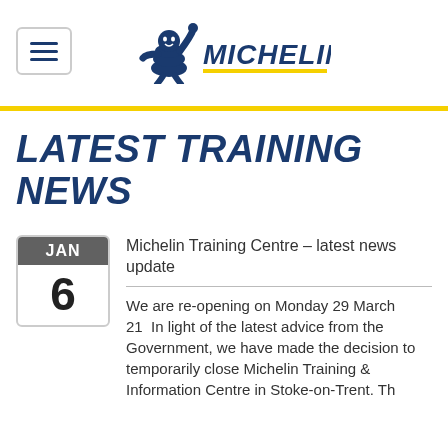[Figure (logo): Michelin logo with Bibendum mascot figure and MICHELIN text in blue italic font with yellow underline]
LATEST TRAINING NEWS
Michelin Training Centre – latest news update
We are re-opening on Monday 29 March 21  In light of the latest advice from the Government, we have made the decision to temporarily close Michelin Training & Information Centre in Stoke-on-Trent. Th...